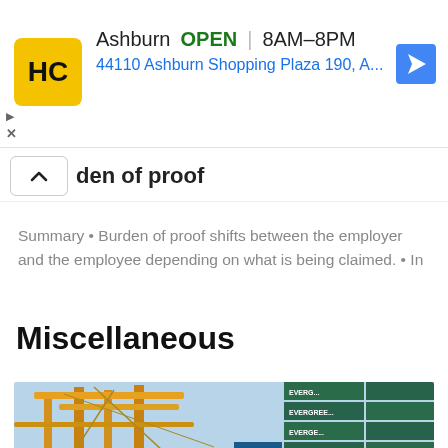[Figure (screenshot): Ad banner for HC (Hardware store) in Ashburn showing OPEN 8AM-8PM and address 44110 Ashburn Shopping Plaza 190, A...]
den of proof
Summary • Burden of proof shifts between the employer and the employee depending on what is being claimed. • In
Miscellaneous
[Figure (photo): Port shipping yard with large yellow cranes and stacked green Evergreen shipping containers against a blue sky]